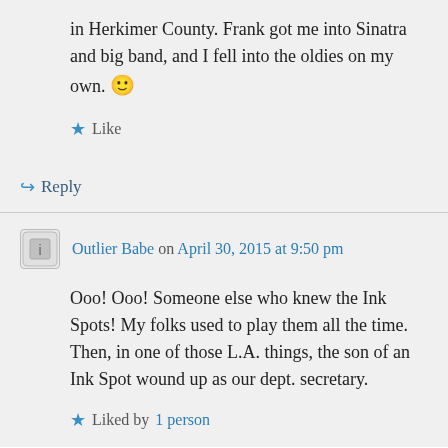in Herkimer County. Frank got me into Sinatra and big band, and I fell into the oldies on my own. 🙂
★ Like
↪ Reply
Outlier Babe on April 30, 2015 at 9:50 pm
Ooo! Ooo! Someone else who knew the Ink Spots! My folks used to play them all the time. Then, in one of those L.A. things, the son of an Ink Spot wound up as our dept. secretary.
★ Liked by 1 person